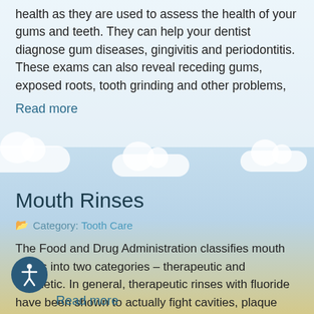health as they are used to assess the health of your gums and teeth. They can help your dentist diagnose gum diseases, gingivitis and periodontitis. These exams can also reveal receding gums, exposed roots, tooth grinding and other problems,
Read more
Mouth Rinses
Category: Tooth Care
The Food and Drug Administration classifies mouth rinses into two categories – therapeutic and cosmetic. In general, therapeutic rinses with fluoride have been shown to actually fight cavities, plaque and gingivitis. On the other hand, cosmetic rinses merely treat breath odor, reduce bia and/or
Read more